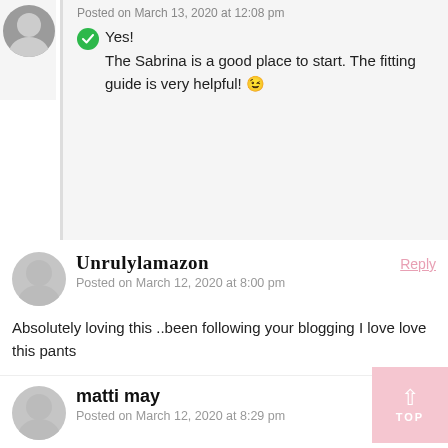Posted on March 13, 2020 at 12:08 pm
Yes!
The Sabrina is a good place to start. The fitting guide is very helpful! 😉
Unrulylamazon
Posted on March 12, 2020 at 8:00 pm
Reply
Absolutely loving this ..been following your blogging I love love this pants
admin
Posted on March 13, 2020 at 12:07 pm
Reply
Ah thanks! <3
matti may
Posted on March 12, 2020 at 8:29 pm